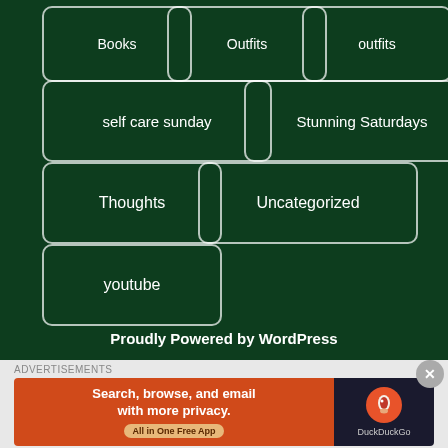Books
Outfits
outfits
self care sunday
Stunning Saturdays
Thoughts
Uncategorized
youtube
Proudly Powered by WordPress
[Figure (screenshot): DuckDuckGo advertisement banner: 'Search, browse, and email with more privacy. All in One Free App' with DuckDuckGo logo on dark background]